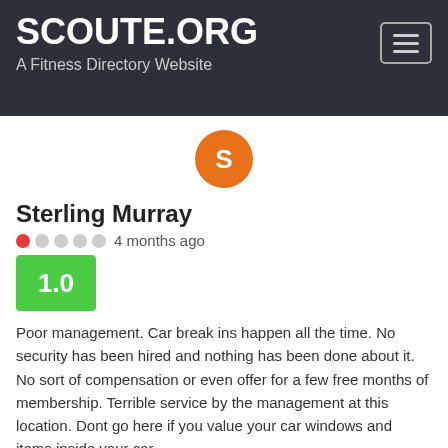SCOUTE.ORG
A Fitness Directory Website
[Figure (illustration): Orange circle avatar with white letter S in the center]
Sterling Murray
1 out of 5 stars · 4 months ago
1.0
Poor management. Car break ins happen all the time. No security has been hired and nothing has been done about it. No sort of compensation or even offer for a few free months of membership. Terrible service by the management at this location. Dont go here if you value your car windows and items inside your car.